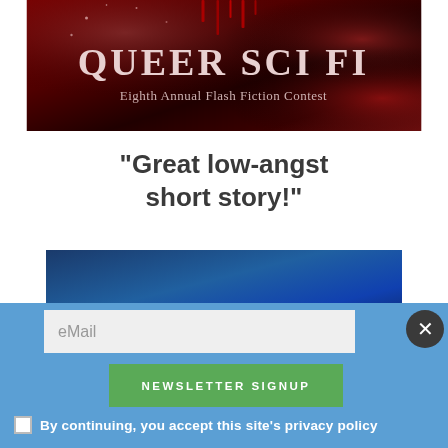[Figure (illustration): Queer Sci Fi Eighth Annual Flash Fiction Contest banner with dark red/crimson background and sparkle effects, white drip lines at top, red floral/petal elements on sides]
"Great low-angst short story!"
[Figure (photo): Dark blue background image with partial view of a figure/hand at bottom center]
eMail
NEWSLETTER SIGNUP
By continuing, you accept this site's privacy policy